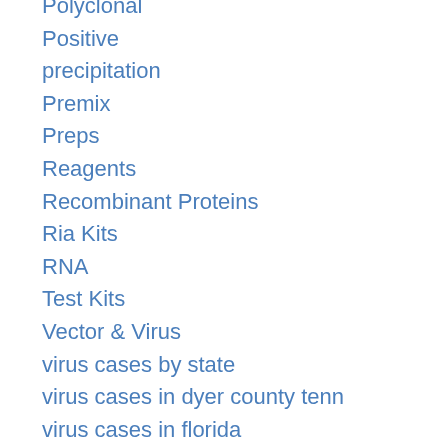Polyclonal
Positive
precipitation
Premix
Preps
Reagents
Recombinant Proteins
Ria Kits
RNA
Test Kits
Vector & Virus
virus cases by state
virus cases in dyer county tenn
virus cases in florida
virus cases in texas